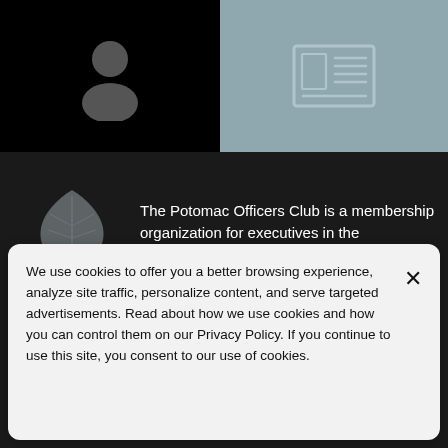[Figure (illustration): Black box with a gray silhouette person icon centered]
[Figure (illustration): Blue-gray box with a newspaper/article icon centered]
The Potomac Officers Club is a membership organization for executives in the government contracting space. It hosts several series of annual
We use cookies to offer you a better browsing experience, analyze site traffic, personalize content, and serve targeted advertisements. Read about how we use cookies and how you can control them on our Privacy Policy. If you continue to use this site, you consent to our use of cookies.